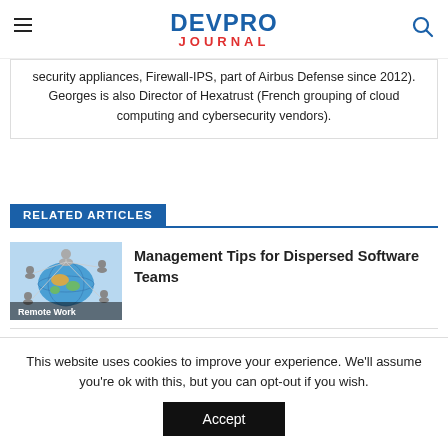DEVPRO JOURNAL
security appliances, Firewall-IPS, part of Airbus Defense since 2012). Georges is also Director of Hexatrust (French grouping of cloud computing and cybersecurity vendors).
RELATED ARTICLES
[Figure (illustration): Thumbnail image showing a world map with connected user icons, labeled 'Remote Work']
Management Tips for Dispersed Software Teams
This website uses cookies to improve your experience. We'll assume you're ok with this, but you can opt-out if you wish. Accept